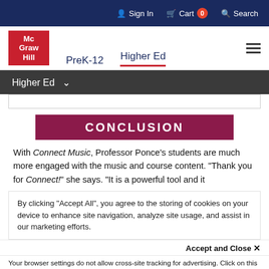Sign In  Cart 0  Search
[Figure (logo): McGraw Hill logo in red box with white text]
PreK-12   Higher Ed
Higher Ed (dropdown)
CONCLUSION
With Connect Music, Professor Ponce's students are much more engaged with the music and course content. "Thank you for Connect!" she says. "It is a powerful tool and it
By clicking "Accept All", you agree to the storing of cookies on your device to enhance site navigation, analyze site usage, and assist in our marketing efforts.
Accept and Close ×
Your browser settings do not allow cross-site tracking for advertising. Click on this page to allow AdRoll to use cross-site tracking to tailor ads to you. Learn more or opt out of this AdRoll tracking by clicking here. This message only appears once.